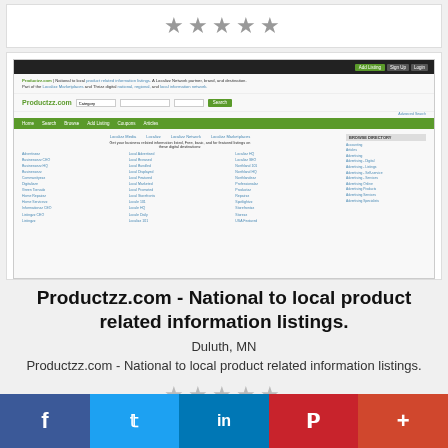[Figure (other): Five grey star rating icons]
[Figure (screenshot): Screenshot of Productzz.com website showing navigation, search bar, and directory listings]
Productzz.com - National to local product related information listings.
Duluth, MN
Productzz.com - National to local product related information listings.
[Figure (other): Five grey star rating icons]
[Figure (infographic): Social media share bar with Facebook, Twitter, LinkedIn, Pinterest, and plus buttons]